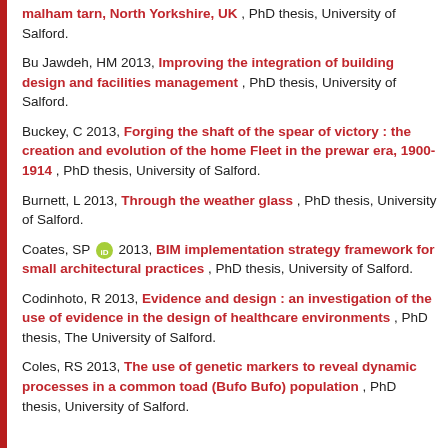malham tarn, North Yorkshire, UK , PhD thesis, University of Salford.
Bu Jawdeh, HM 2013, Improving the integration of building design and facilities management , PhD thesis, University of Salford.
Buckey, C 2013, Forging the shaft of the spear of victory : the creation and evolution of the home Fleet in the prewar era, 1900-1914 , PhD thesis, University of Salford.
Burnett, L 2013, Through the weather glass , PhD thesis, University of Salford.
Coates, SP [orcid] 2013, BIM implementation strategy framework for small architectural practices , PhD thesis, University of Salford.
Codinhoto, R 2013, Evidence and design : an investigation of the use of evidence in the design of healthcare environments , PhD thesis, The University of Salford.
Coles, RS 2013, The use of genetic markers to reveal dynamic processes in a common toad (Bufo Bufo) population , PhD thesis, University of Salford.